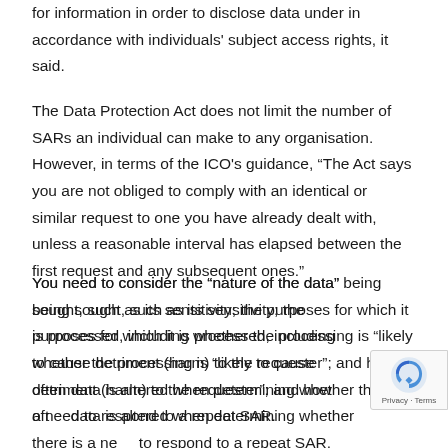for information in order to disclose data under in accordance with individuals' subject access rights, it said.
The Data Protection Act does not limit the number of SARs an individual can make to any organisation. However, in terms of the ICO's guidance, "The Act says you are not obliged to comply with an identical or similar request to one you have already dealt with, unless a reasonable interval has elapsed between the first request and any subsequent ones."
You need to consider the “nature of the data” being sought, such as its sensitivity; the purposes for which it is processed, including whether the processing is “likely to cause detriment (harm) to the requester”; and how often data is altered when determining whether there is a need to respond to a repeat SAR.